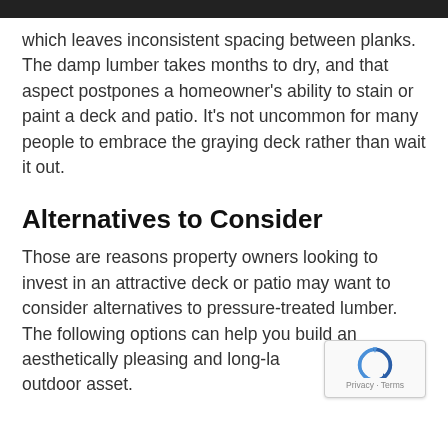which leaves inconsistent spacing between planks. The damp lumber takes months to dry, and that aspect postpones a homeowner's ability to stain or paint a deck and patio. It's not uncommon for many people to embrace the graying deck rather than wait it out.
Alternatives to Consider
Those are reasons property owners looking to invest in an attractive deck or patio may want to consider alternatives to pressure-treated lumber. The following options can help you build an aesthetically pleasing and long-lasting outdoor asset.